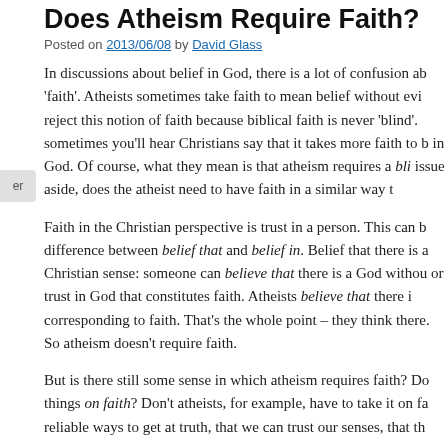Does Atheism Require Faith?
Posted on 2013/06/08 by David Glass
In discussions about belief in God, there is a lot of confusion ab’faith’. Atheists sometimes take faith to mean belief without evi reject this notion of faith because biblical faith is never ‘blind’. sometimes you’ll hear Christians say that it takes more faith to b in God. Of course, what they mean is that atheism requires a bli issue aside, does the atheist need to have faith in a similar way t
Faith in the Christian perspective is trust in a person. This can b difference between belief that and belief in. Belief that there is a Christian sense: someone can believe that there is a God withou or trust in God that constitutes faith. Atheists believe that there i corresponding to faith. That’s the whole point – they think there. So atheism doesn’t require faith.
But is there still some sense in which atheism requires faith? Do things on faith? Don’t atheists, for example, have to take it on fa reliable ways to get at truth, that we can trust our senses, that th